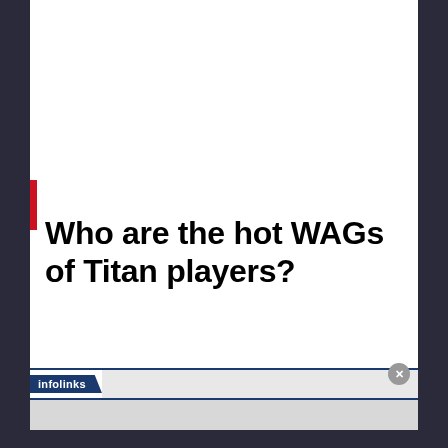Who are the hot WAGs of Titan players?
[Figure (screenshot): Infolinks advertisement bar with close button]
[Figure (other): Gray bottom bar area]